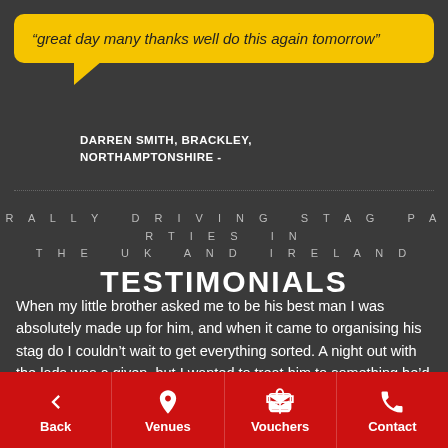“great day many thanks well do this again tomorrow”
DARREN SMITH, BRACKLEY, NORTHAMPTONSHIRE -
RALLY DRIVING STAG PARTIES IN THE UK AND IRELAND TESTIMONIALS
When my little brother asked me to be his best man I was absolutely made up for him, and when it came to organising his stag do I couldn’t wait to get everything sorted. A night out with the lads was a given, but I wanted to treat him to something he’d really remember before hand.
Back | Venues | Vouchers | Contact